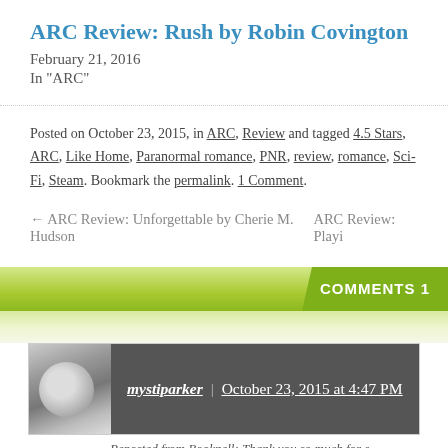ARC Review: Rush by Robin Covington
February 21, 2016
In "ARC"
Posted on October 23, 2015, in ARC, Review and tagged 4.5 Stars, ARC, Like Home, Paranormal romance, PNR, review, romance, Sci-Fi, Steam. Bookmark the permalink. 1 Comment.
← ARC Review: Unforgettable by Cherie M. Hudson
ARC Review: Playi
COMMENTS 1
mystiparker | October 23, 2015 at 4:47 PM